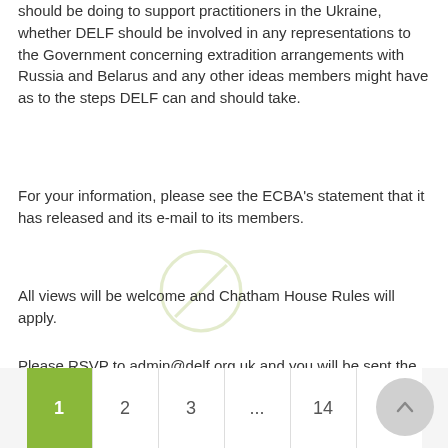should be doing to support practitioners in the Ukraine, whether DELF should be involved in any representations to the Government concerning extradition arrangements with Russia and Belarus and any other ideas members might have as to the steps DELF can and should take.
For your information, please see the ECBA's statement that it has released and its e-mail to its members.
All views will be welcome and Chatham House Rules will apply.
Please RSVP to admin@delf.org.uk and you will be sent the link.
1  2  3  ...  14  »